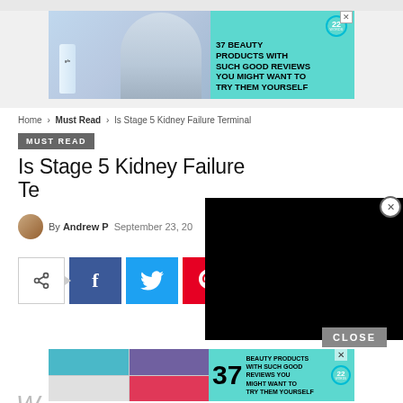[Figure (other): Advertisement banner: '37 Beauty Products With Such Good Reviews You Might Want To Try Them Yourself' with teal background and beauty product images]
Home › Must Read › Is Stage 5 Kidney Failure Terminal
Must Read
Is Stage 5 Kidney Failure Te...
By Andrew P   September 23, 20...
[Figure (other): Social share buttons: native share, Facebook, Twitter, Pinterest, WhatsApp]
[Figure (other): Black video/overlay rectangle with close X button]
CLOSE
[Figure (other): Bottom advertisement banner: '37 Beauty Products With Such Good Reviews You Might Want To Try Them Yourself']